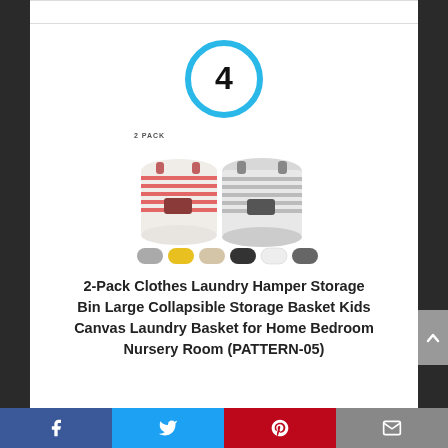[Figure (other): Blue circle badge with number 4 inside, indicating rank #4]
[Figure (photo): Product image: 2-Pack laundry hamper storage bins in striped red/white and gray/white patterns, with color variant swatches below (gray, yellow, beige, black, white, dark gray)]
2-Pack Clothes Laundry Hamper Storage Bin Large Collapsible Storage Basket Kids Canvas Laundry Basket for Home Bedroom Nursery Room (PATTERN-05)
[Figure (infographic): Social media share bar with Facebook, Twitter, Pinterest, and Email buttons]